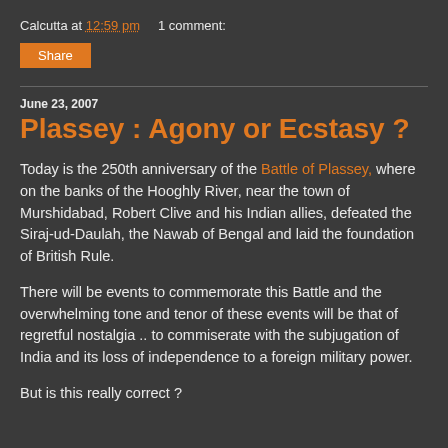Calcutta at 12:59 pm   1 comment:
Share
June 23, 2007
Plassey : Agony or Ecstasy ?
Today is the 250th anniversary of the Battle of Plassey, where on the banks of the Hooghly River, near the town of Murshidabad, Robert Clive and his Indian allies, defeated the Siraj-ud-Daulah, the Nawab of Bengal and laid the foundation of British Rule.
There will be events to commemorate this Battle and the overwhelming tone and tenor of these events will be that of regretful nostalgia .. to commiserate with the subjugation of India and its loss of independence to a foreign military power.
But is this really correct ?